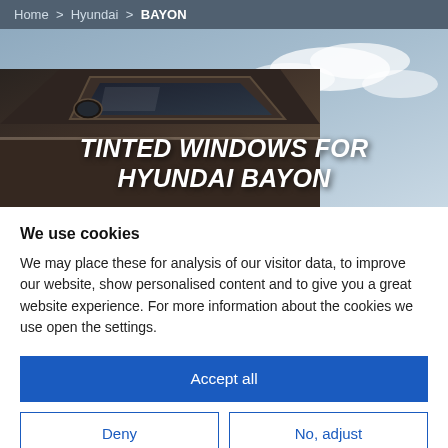Home > Hyundai > BAYON
[Figure (photo): Hero image of a Hyundai Bayon car with side window visible against a cloudy sky background. White bold italic uppercase text overlay reads: TINTED WINDOWS FOR HYUNDAI BAYON]
TINTED WINDOWS FOR HYUNDAI BAYON
We use cookies
We may place these for analysis of our visitor data, to improve our website, show personalised content and to give you a great website experience. For more information about the cookies we use open the settings.
Accept all
Deny
No, adjust